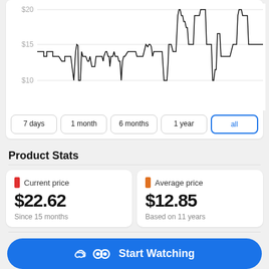[Figure (continuous-plot): Price history line chart showing price fluctuations between approximately $10 and $20, with a recent spike to near $20 at the far right. Y-axis labels: $20, $15, $10.]
7 days
1 month
6 months
1 year
all
Product Stats
Current price $22.62 Since 15 months
Average price $12.85 Based on 11 years
Start Watching